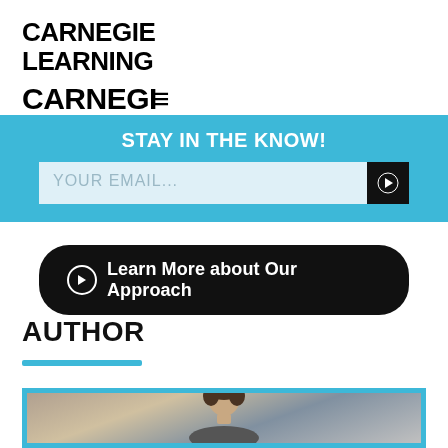[Figure (logo): Carnegie Learning logo — bold black text, two lines: 'CARNEGIΕ' and 'LΕARNING' with stylized E characters]
STAY IN THE KNOW!
YOUR EMAIL...
Learn More about Our Approach
AUTHOR
[Figure (photo): Portrait photo of a man with dark hair, shown from shoulders up, blurred background with lights, framed with blue border]